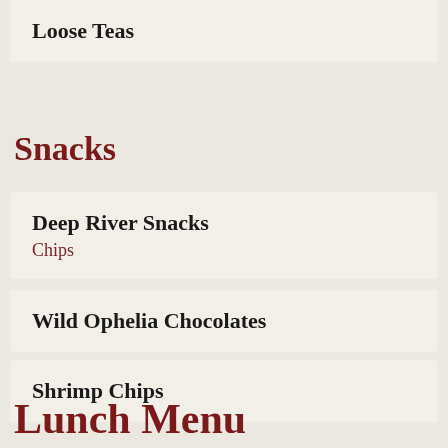Loose Teas
Snacks
Deep River Snacks
Chips
Wild Ophelia Chocolates
Shrimp Chips
Lunch Menu